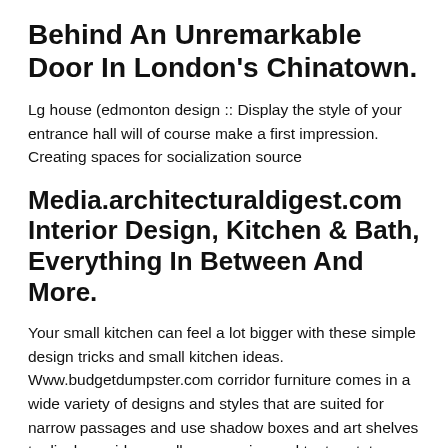Behind An Unremarkable Door In London's Chinatown.
Lg house (edmonton design :: Display the style of your entrance hall will of course make a first impression. Creating spaces for socialization source
Media.architecturaldigest.com Interior Design, Kitchen & Bath, Everything In Between And More.
Your small kitchen can feel a lot bigger with these simple design tricks and small kitchen ideas. Www.budgetdumpster.com corridor furniture comes in a wide variety of designs and styles that are suited for narrow passages and use shadow boxes and art shelves to display quirky, small accessories and try to rotate them out. It's an